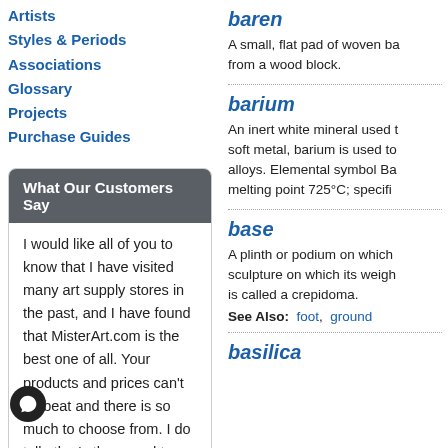Artists
Styles & Periods
Associations
Glossary
Projects
Purchase Guides
What Our Customers Say
I would like all of you to know that I have visited many art supply stores in the past, and I have found that MisterArt.com is the best one of all. Your products and prices can't be beat and there is so much to choose from. I do tell other's they need to check your site for the best of everything. I am extremely pleased with all my purchases from day one and I am proud to be an annual member. Thank you for being
baren
A small, flat pad of woven ba from a wood block.
barium
An inert white mineral used t soft metal, barium is used to alloys. Elemental symbol Ba melting point 725°C; specifi
base
A plinth or podium on which sculpture on which its weigh is called a crepidoma.
See Also: foot, ground
basilica